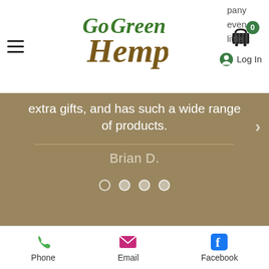GoGreen Hemp — Navigation bar with hamburger menu, logo, cart (0), and Log In
extra gifts, and has such a wide range of products.
Brian D.
12 Reasons To Choose
Phone  Email  Facebook